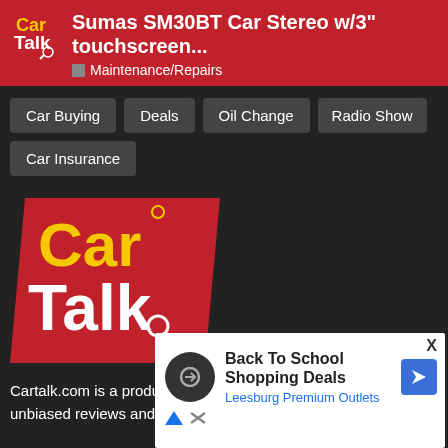Sumas SM30BT Car Stereo w/3" touchscreen... Maintenance/Repairs
Car Buying
Deals
Oil Change
Radio Show
Car Insurance
[Figure (logo): Car Talk logo — red parallelogram with yellow 'Car' and white 'Talk' text and wrench/car icon]
Cartalk.com is a production of Cartalk Digital Inc. We offer unbiased reviews and advice, bad jokes and a great ... opy driving...
[Figure (screenshot): Advertisement overlay: Back To School Shopping Deals — Leesburg Premium Outlets, with Google Maps arrow icon and close X button]